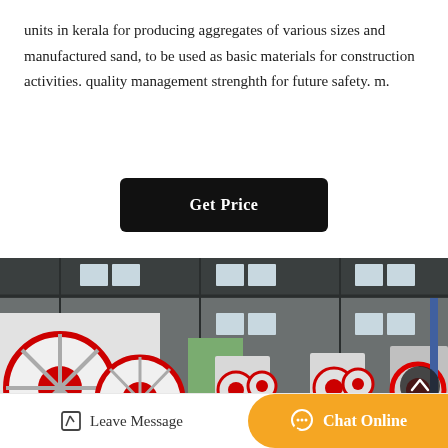units in kerala for producing aggregates of various sizes and manufactured sand, to be used as basic materials for construction activities. quality management strenghth for future safety. m.
[Figure (other): A black rounded-rectangle button with white bold text reading 'Get Price']
[Figure (photo): Industrial factory interior showing large jaw crusher machines with red and white flywheel discs lined up on a concrete floor inside a steel-framed warehouse with high windows]
Leave Message
Chat Online